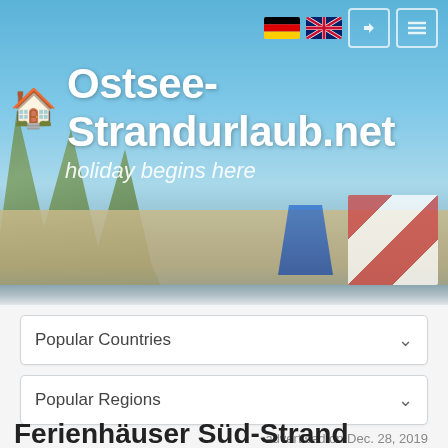[Figure (screenshot): Website header hero banner showing beach scene with blurred grass, sand, and beach chairs. Sky is light blue. Navigation bar at top right with German and UK flags, login button, and menu button.]
🏠 Ostsee-Strandurlaub.net
holiday begins here
Popular Countries
Popular Regions
advertised on Dec. 28, 2019
Ferienhäuser Süd-Strand...